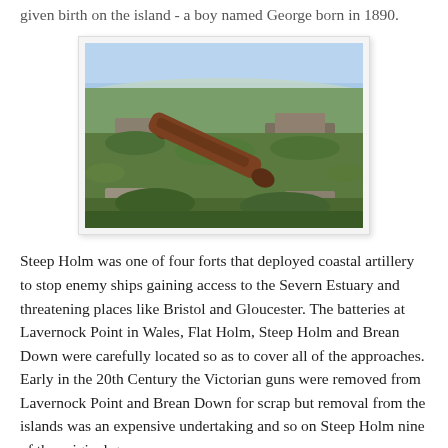given birth on the island - a boy named George born in 1890.
[Figure (photo): Photograph of an old rusting cannon lying on its side in overgrown grassy ruins on Steep Holm island, with stone structures and blue sky in the background.]
Steep Holm was one of four forts that deployed coastal artillery to stop enemy ships gaining access to the Severn Estuary and threatening places like Bristol and Gloucester. The batteries at Lavernock Point in Wales, Flat Holm, Steep Holm and Brean Down were carefully located so as to cover all of the approaches. Early in the 20th Century the Victorian guns were removed from Lavernock Point and Brean Down for scrap but removal from the islands was an expensive undertaking and so on Steep Holm nine of the original gun